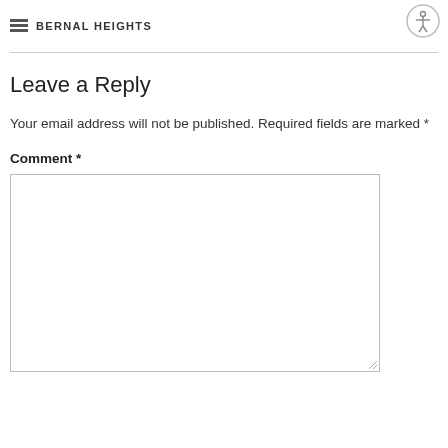BERNAL HEIGHTS
Leave a Reply
Your email address will not be published. Required fields are marked *
Comment *